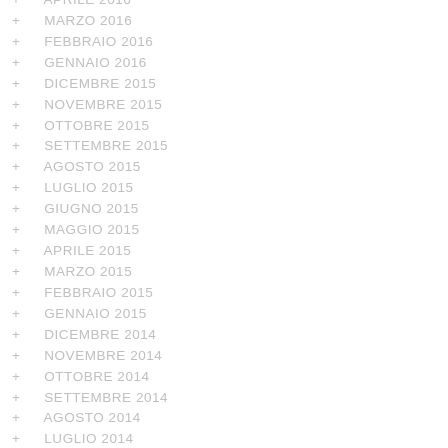+ APRILE 2016
+ MARZO 2016
+ FEBBRAIO 2016
+ GENNAIO 2016
+ DICEMBRE 2015
+ NOVEMBRE 2015
+ OTTOBRE 2015
+ SETTEMBRE 2015
+ AGOSTO 2015
+ LUGLIO 2015
+ GIUGNO 2015
+ MAGGIO 2015
+ APRILE 2015
+ MARZO 2015
+ FEBBRAIO 2015
+ GENNAIO 2015
+ DICEMBRE 2014
+ NOVEMBRE 2014
+ OTTOBRE 2014
+ SETTEMBRE 2014
+ AGOSTO 2014
+ LUGLIO 2014
+ GIUGNO 2014
+ MAGGIO 2014
+ APRILE 2014
+ MARZO 2014